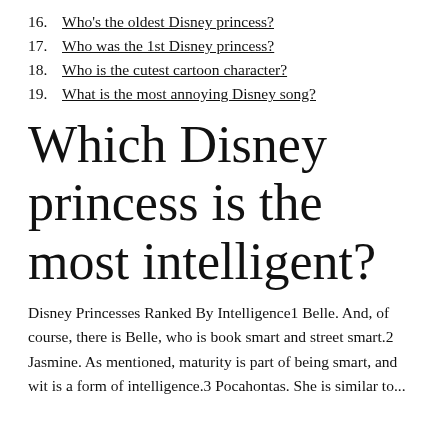16. Who's the oldest Disney princess?
17. Who was the 1st Disney princess?
18. Who is the cutest cartoon character?
19. What is the most annoying Disney song?
Which Disney princess is the most intelligent?
Disney Princesses Ranked By Intelligence1 Belle. And, of course, there is Belle, who is book smart and street smart.2 Jasmine. As mentioned, maturity is part of being smart, and wit is a form of intelligence.3 Pocahontas. She is similar to...